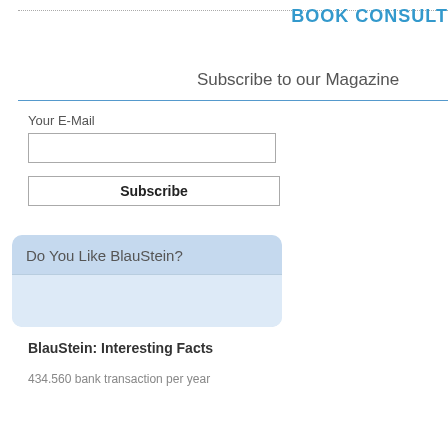BOOK CONSULT
Subscribe to our Magazine
Your E-Mail
Subscribe
Do You Like BlauStein?
BlauStein: Interesting Facts
434.560 bank transaction per year